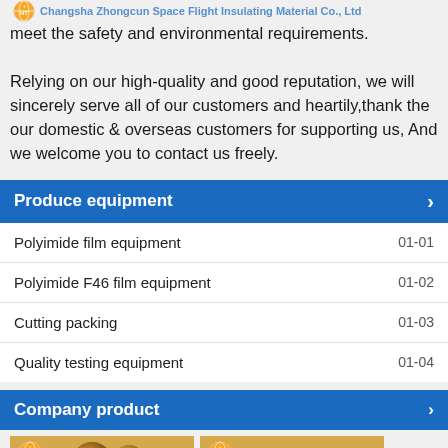Changsha Zhongcun Space Flight Insulating Material Co., Ltd
meet the safety and environmental requirements.

Relying on our high-quality and good reputation, we will sincerely serve all of our customers and heartily,thank the our domestic & overseas customers for supporting us, And we welcome you to contact us freely.
Produce equipment
Polyimide film equipment 01-01
Polyimide F46 film equipment 01-02
Cutting packing 01-03
Quality testing equipment 01-04
Company product
[Figure (photo): Two product images with company logo (HT globe logo) showing gold/bronze colored industrial rolls or bars]